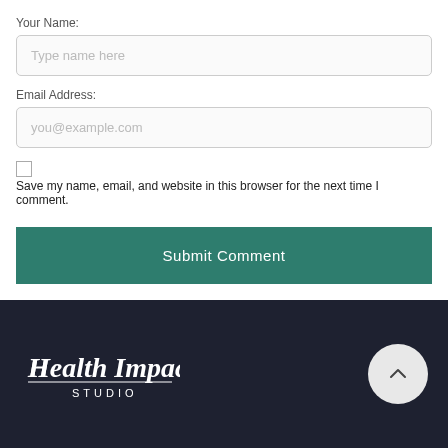Your Name:
Type name here
Email Address:
you@example.com
Save my name, email, and website in this browser for the next time I comment.
Submit Comment
[Figure (logo): Health Impact Studio logo in white script text with STUDIO in small caps, on dark navy background]
[Figure (other): Round light gray scroll-to-top button with upward chevron arrow]